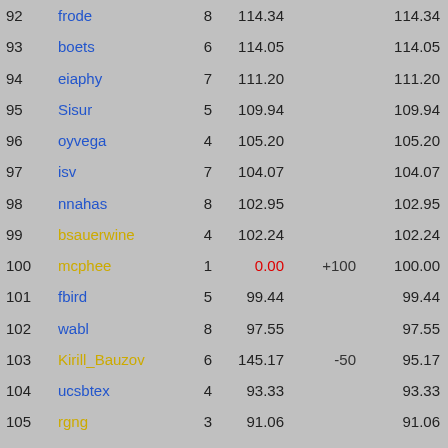| Rank | Name | Games | Score | Adjustment | Total |
| --- | --- | --- | --- | --- | --- |
| 92 | frode | 8 | 114.34 |  | 114.34 |
| 93 | boets | 6 | 114.05 |  | 114.05 |
| 94 | eiaphy | 7 | 111.20 |  | 111.20 |
| 95 | Sisur | 5 | 109.94 |  | 109.94 |
| 96 | oyvega | 4 | 105.20 |  | 105.20 |
| 97 | isv | 7 | 104.07 |  | 104.07 |
| 98 | nnahas | 8 | 102.95 |  | 102.95 |
| 99 | bsauerwine | 4 | 102.24 |  | 102.24 |
| 100 | mcphee | 1 | 0.00 | +100 | 100.00 |
| 101 | fbird | 5 | 99.44 |  | 99.44 |
| 102 | wabl | 8 | 97.55 |  | 97.55 |
| 103 | Kirill_Bauzov | 6 | 145.17 | -50 | 95.17 |
| 104 | ucsbtex | 4 | 93.33 |  | 93.33 |
| 105 | rgng | 3 | 91.06 |  | 91.06 |